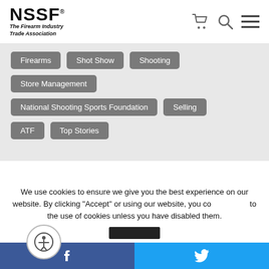NSSF® The Firearm Industry Trade Association
Firearms
Shot Show
Shooting
Store Management
National Shooting Sports Foundation
Selling
ATF
Top Stories
We use cookies to ensure we give you the best experience on our website. By clicking "Accept" or using our website, you consent to the use of cookies unless you have disabled them.